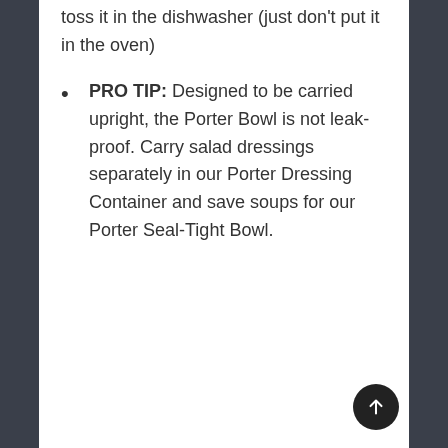toss it in the dishwasher (just don't put it in the oven)
PRO TIP: Designed to be carried upright, the Porter Bowl is not leak-proof. Carry salad dressings separately in our Porter Dressing Container and save soups for our Porter Seal-Tight Bowl.